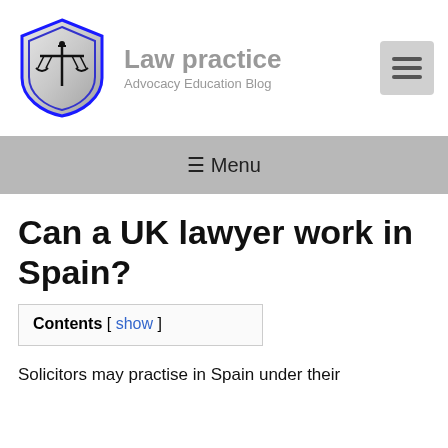[Figure (logo): Law practice shield logo with scales of justice, blue and silver outline]
Law practice
Advocacy Education Blog
[Figure (other): Hamburger menu button (three horizontal lines) on gray background]
≡ Menu
Can a UK lawyer work in Spain?
Contents [ show ]
Solicitors may practise in Spain under their